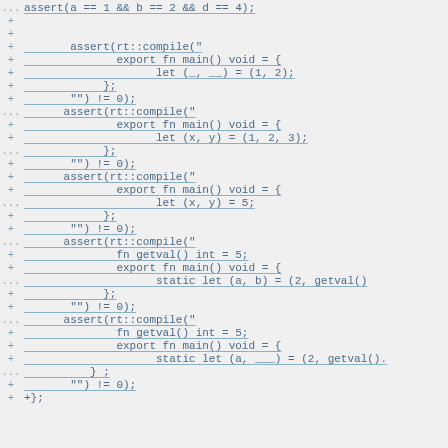[Figure (other): Code diff snippet showing Rust test assertions with rt::compile checks for tuple destructuring patterns]